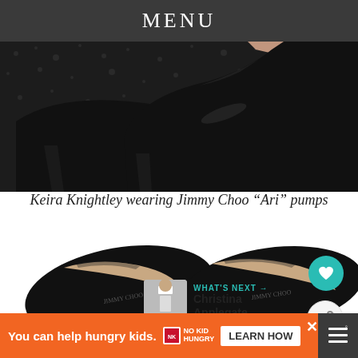MENU
[Figure (photo): Close-up photo of black patent leather pointed-toe high heel pumps (Jimmy Choo 'Ari') on dark asphalt/gravel surface]
Keira Knightley wearing Jimmy Choo “Ari” pumps
[Figure (photo): Close-up of black leather Jimmy Choo high heel pumps from above, showing toe box and interior lining, with heart and share buttons overlaid, and a 'What's Next: Christina Applegate...' panel]
WHAT’S NEXT → Christina Applegate...